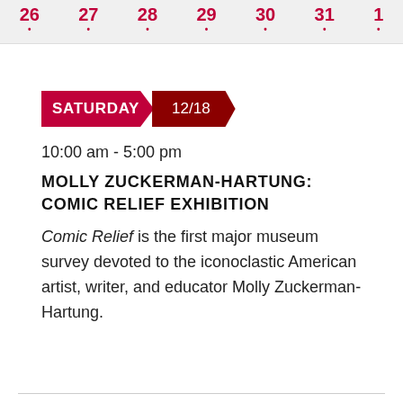[Figure (other): Calendar strip showing days 26, 27, 28, 29, 30, 31, 1 with red dots beneath each number on a light gray background]
SATURDAY 12/18
10:00 am - 5:00 pm
MOLLY ZUCKERMAN-HARTUNG: COMIC RELIEF EXHIBITION
Comic Relief is the first major museum survey devoted to the iconoclastic American artist, writer, and educator Molly Zuckerman-Hartung.